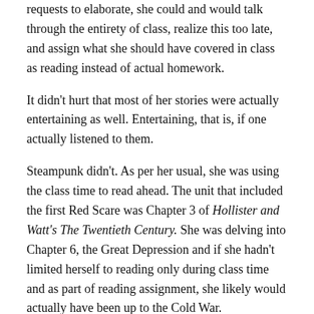requests to elaborate, she could and would talk through the entirety of class, realize this too late, and assign what she should have covered in class as reading instead of actual homework.
It didn't hurt that most of her stories were actually entertaining as well. Entertaining, that is, if one actually listened to them.
Steampunk didn't. As per her usual, she was using the class time to read ahead. The unit that included the first Red Scare was Chapter 3 of Hollister and Watt's The Twentieth Century. She was delving into Chapter 6, the Great Depression and if she hadn't limited herself to reading only during class time and as part of reading assignment, she likely would actually have been up to the Cold War.
As in most of her classes, she was seated under an air conditioning duct in order to dissipate some of the heat she bled off. Some of the other students in similar positions would shiver sometimes, she noticed. Because they were cold. She rarely felt cold, even as the icy blast of the air conditioner bore down on her neck.
Steampunk herself, watching the other students. One of them—